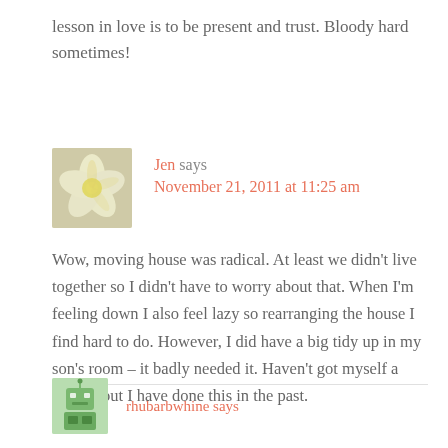lesson in love is to be present and trust. Bloody hard sometimes!
[Figure (photo): Avatar image of a yellow and white plumeria flower]
Jen says
November 21, 2011 at 11:25 am
Wow, moving house was radical. At least we didn't live together so I didn't have to worry about that. When I'm feeling down I also feel lazy so rearranging the house I find hard to do. However, I did have a big tidy up in my son's room – it badly needed it. Haven't got myself a haircut but I have done this in the past.
[Figure (illustration): Small robot/character avatar icon in green, partially visible at bottom]